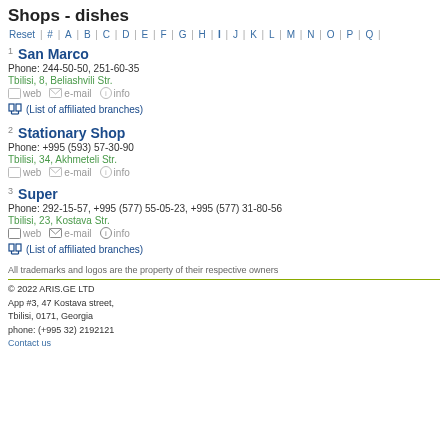Shops - dishes
Reset | # | A | B | C | D | E | F | G | H | I | J | K | L | M | N | O | P | Q |
1 San Marco
Phone: 244-50-50, 251-60-35
Tbilisi, 8, Beliashvili Str.
(List of affiliated branches)
2 Stationary Shop
Phone: +995 (593) 57-30-90
Tbilisi, 34, Akhmeteli Str.
3 Super
Phone: 292-15-57, +995 (577) 55-05-23, +995 (577) 31-80-56
Tbilisi, 23, Kostava Str.
(List of affiliated branches)
All trademarks and logos are the property of their respective owners
© 2022 ARIS.GE LTD
App #3, 47 Kostava street,
Tbilisi, 0171, Georgia
phone: (+995 32) 2192121
Contact us